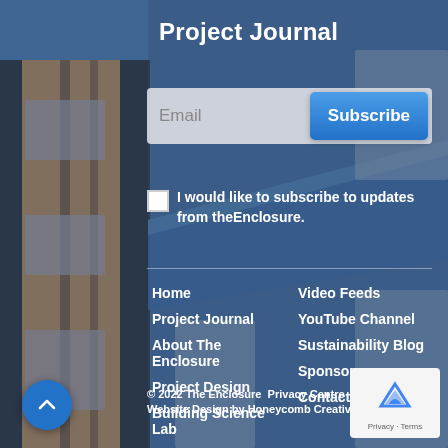Project Journal
Email
Subscribe
I would like to subscribe to updates from theEnclosure.
Home
Project Journal
About The Enclosure
Project Design
Building Science Lab
Photo Gallery
Video Feeds
YouTube Channel
Sustainability Blog
Sponsors
Contact
© 2022 The Enclosure   Privacy Centre  |  Site Terms
Website Design by Honeycomb Creative